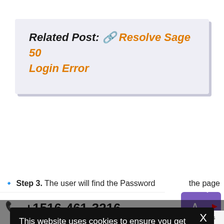Related Post: 🔗 Resolve Sage 50 Login Error
[Figure (screenshot): Cookie consent banner overlay on a dark background. Shows message: 'This website uses cookies to ensure you get the best experience on our website.' with a 'Learn more' link and 'Got it' button. An X close button is in the top right corner.]
Step 3. The user will find the Password the page
+1516-461-3216
Privacy · Terms